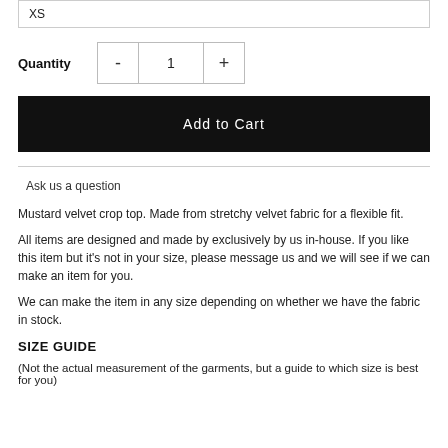XS
Quantity - 1 +
Add to Cart
Ask us a question
Mustard velvet crop top. Made from stretchy velvet fabric for a flexible fit.
All items are designed and made by exclusively by us in-house. If you like this item but it’s not in your size, please message us and we will see if we can make an item for you.
We can make the item in any size depending on whether we have the fabric in stock.
SIZE GUIDE
(Not the actual measurement of the garments, but a guide to which size is best for you)